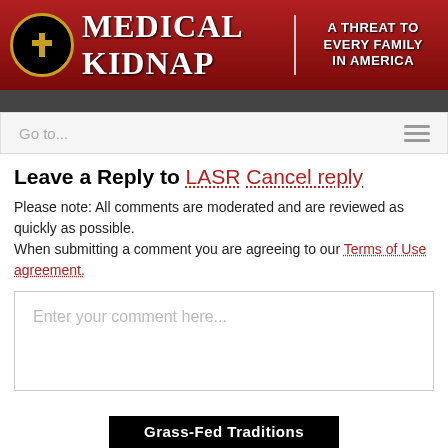[Figure (logo): Medical Kidnap website header banner with logo (cross in gold circle on black), title 'Medical Kidnap' in white serif bold, divider, and subtitle 'A Threat to Every Family in America' on red gradient background]
Go to...
Leave a Reply to LASR Cancel reply
Please note: All comments are moderated and are reviewed as quickly as possible.
When submitting a comment you are agreeing to our Terms of Use agreement.
Enter your comment here...
Grass-Fed Traditions